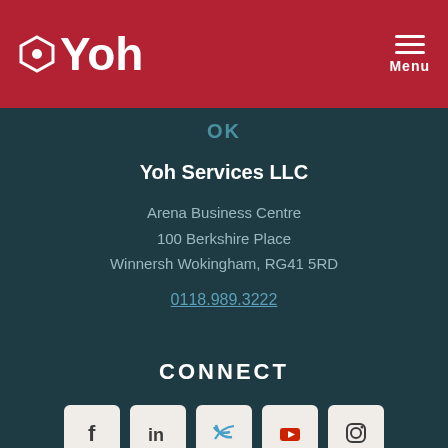Yoh  Menu
OK
Yoh Services LLC
Arena Business Centre
100 Berkshire Place
Winnersh Wokingham, RG41 5RD
0118.989.3222
CONNECT
[Figure (other): Social media icons: Facebook, LinkedIn, Twitter, YouTube, Instagram]
[Figure (other): Partial circular badge/seal with text 'DA SIT']